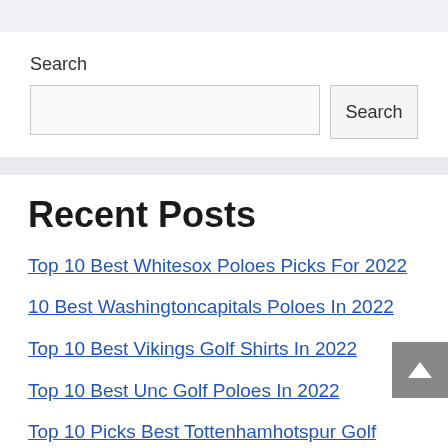Search
Search [input field] Search [button]
Recent Posts
Top 10 Best Whitesox Poloes Picks For 2022
10 Best Washingtoncapitals Poloes In 2022
Top 10 Best Vikings Golf Shirts In 2022
Top 10 Best Unc Golf Poloes In 2022
Top 10 Picks Best Tottenhamhotspur Golf